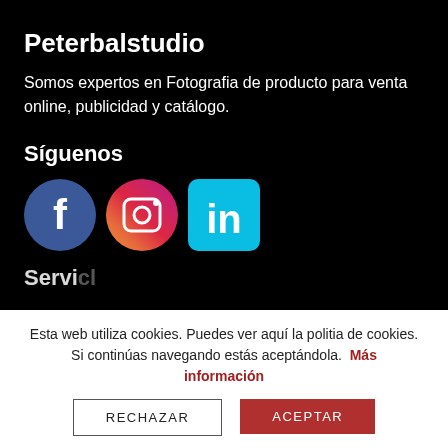Peterbalstudio
Somos expertos en Fotografia de producto para venta online, publicidad y catálogo.
Síguenos
[Figure (illustration): Three social media icons: Facebook (blue circle with 'f'), Instagram (gradient circle with camera icon), LinkedIn (cyan square with 'in')]
Esta web utiliza cookies. Puedes ver aquí la politia de cookies. Si continúas navegando estás aceptándola. Más información
RECHAZAR
ACEPTAR